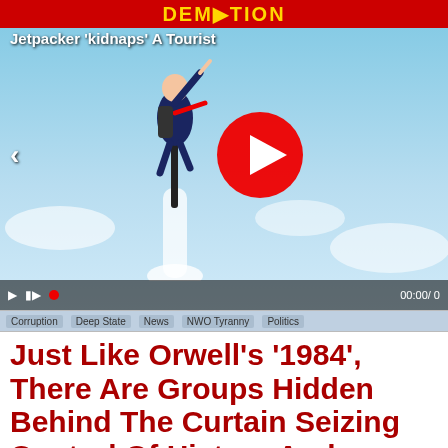DEMOTION
Jetpacker 'kidnaps' A Tourist
[Figure (screenshot): Video thumbnail showing a person using a jetpack flying in a blue sky with smoke/water vapor trail below, with a red play button overlay and video controls at the bottom. Left navigation arrow visible.]
Corruption  Deep State  News  NWO Tyranny  Politics
Just Like Orwell's '1984', There Are Groups Hidden Behind The Curtain Seizing Control Of History And Rewriting It To Suit